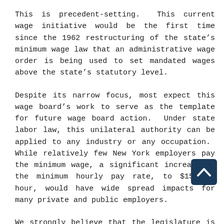This is precedent-setting.  This current wage initiative would be the first time since the 1962 restructuring of the state's minimum wage law that an administrative wage order is being used to set mandated wages above the state's statutory level.
Despite its narrow focus, most expect this wage board's work to serve as the template for future wage board action.  Under state labor law, this unilateral authority can be applied to any industry or any occupation.  While relatively few New York employers pay the minimum wage, a significant increase in the minimum hourly pay rate, to $15 per hour, would have wide spread impacts for many private and public employers.
We strongly believe that the legislature is the proper venue for this type of policy-making, and in fact the New York State legislature has adopted 22 minimum wage increases since 1962.  A three step increase was adopted in 2013, and will not be fully phased in until the end of 2015, whereupon the third...